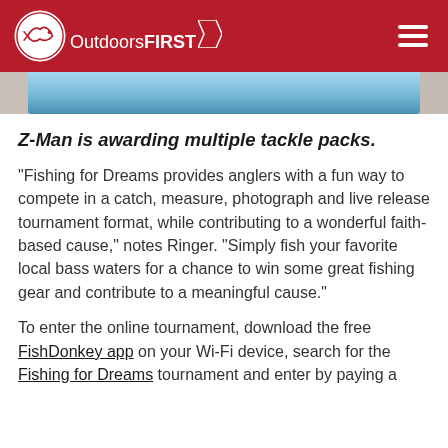OutdoorsFIRST
[Figure (photo): Partial image showing fishing-related scene with blue/teal colors at bottom of header]
Z-Man is awarding multiple tackle packs.
"Fishing for Dreams provides anglers with a fun way to compete in a catch, measure, photograph and live release tournament format, while contributing to a wonderful faith-based cause," notes Ringer. "Simply fish your favorite local bass waters for a chance to win some great fishing gear and contribute to a meaningful cause."
To enter the online tournament, download the free FishDonkey app on your Wi-Fi device, search for the Fishing for Dreams tournament and enter by paying a